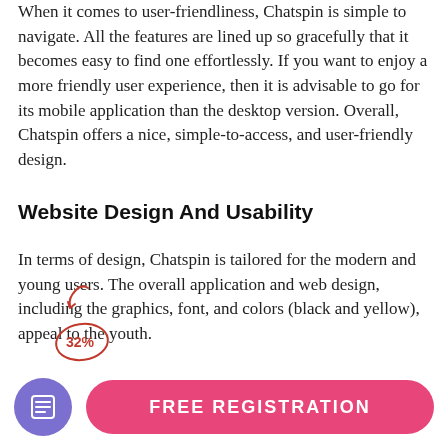When it comes to user-friendliness, Chatspin is simple to navigate. All the features are lined up so gracefully that it becomes easy to find one effortlessly. If you want to enjoy a more friendly user experience, then it is advisable to go for its mobile application than the desktop version. Overall, Chatspin offers a nice, simple-to-access, and user-friendly design.
Website Design And Usability
In terms of design, Chatspin is tailored for the modern and young users. The overall application and web design, including the graphics, font, and colors (black and yellow), appeal to the youth.
When we talk about its usability, it is better to use the